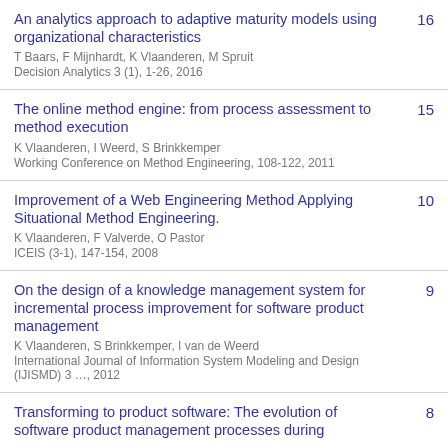An analytics approach to adaptive maturity models using organizational characteristics | T Baars, F Mijnhardt, K Vlaanderen, M Spruit | Decision Analytics 3 (1), 1-26, 2016 | 16
The online method engine: from process assessment to method execution | K Vlaanderen, I Weerd, S Brinkkemper | Working Conference on Method Engineering, 108-122, 2011 | 15
Improvement of a Web Engineering Method Applying Situational Method Engineering. | K Vlaanderen, F Valverde, O Pastor | ICEIS (3-1), 147-154, 2008 | 10
On the design of a knowledge management system for incremental process improvement for software product management | K Vlaanderen, S Brinkkemper, I van de Weerd | International Journal of Information System Modeling and Design (IJISMD) 3 ..., 2012 | 9
Transforming to product software: The evolution of software product management processes during... | 8